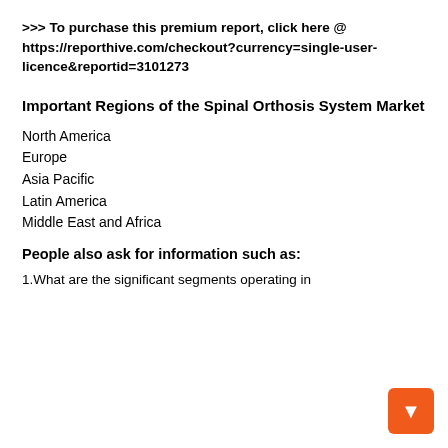>>> To purchase this premium report, click here @ https://reporthive.com/checkout?currency=single-user-licence&reportid=3101273
Important Regions of the Spinal Orthosis System Market
North America
Europe
Asia Pacific
Latin America
Middle East and Africa
People also ask for information such as:
1.What are the significant segments operating in